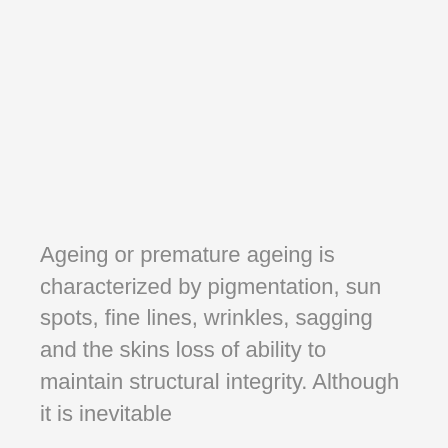Ageing or premature ageing is characterized by pigmentation, sun spots, fine lines, wrinkles, sagging and the skins loss of ability to maintain structural integrity. Although it is inevitable